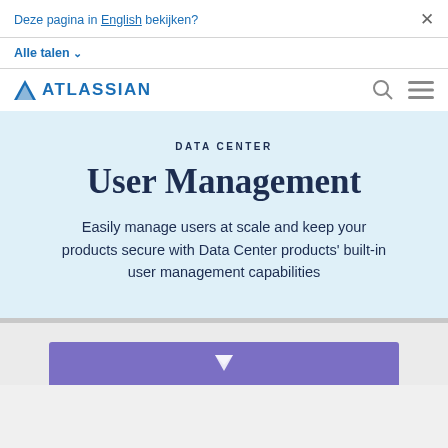Deze pagina in English bekijken?
Alle talen ▾
ATLASSIAN
DATA CENTER
User Management
Easily manage users at scale and keep your products secure with Data Center products' built-in user management capabilities